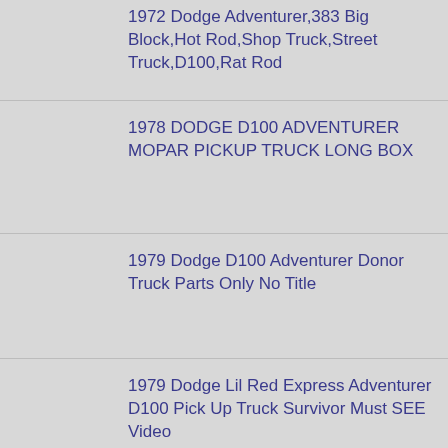1972 Dodge Adventurer,383 Big Block,Hot Rod,Shop Truck,Street Truck,D100,Rat Rod
1978 DODGE D100 ADVENTURER MOPAR PICKUP TRUCK LONG BOX
1979 Dodge D100 Adventurer Donor Truck Parts Only No Title
1979 Dodge Lil Red Express Adventurer D100 Pick Up Truck Survivor Must SEE Video